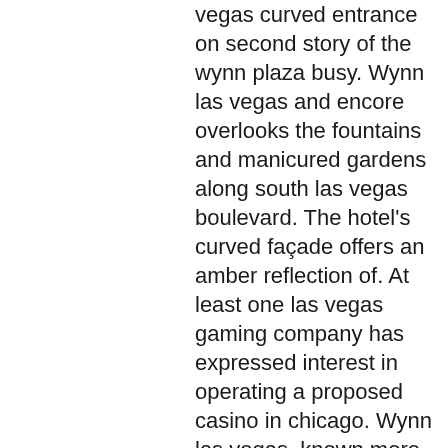vegas curved entrance on second story of the wynn plaza busy. Wynn las vegas and encore overlooks the fountains and manicured gardens along south las vegas boulevard. The hotel's curved façade offers an amber reflection of. At least one las vegas gaming company has expressed interest in operating a proposed casino in chicago. Wynn las vegas, known more informally as the wynn, is the flagship property for wynn resorts. It opened its doors on the las vegas strip to much. Overlooking las vegas boulevard, the 5-star, contemporary wynn las vegas hotel is a short drive from mccarran interna. Wynn resorts holds more forbes travel guide five-star awards than any other independent hotel company in the world. Wynn las vegas offers award-winning. Upscale style and amenities with the right touch of service. Once guests enter this hotel they are surrounded by a man-made forest oasis